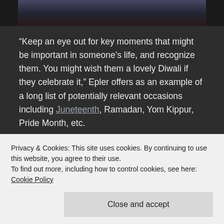[Figure (photo): Dark photograph strip at the top of the page showing people, partially cropped]
“Keep an eye out for key moments that might be important in someone’s life, and recognize them. You might wish them a lovely Diwali if they celebrate it,” Epler offers as an example of a long list of potentially relevant occasions including Juneteenth, Ramadan, Yom Kippur, Pride Month, etc.
3. When someone isn’t
meetings or brainstorming sessions as simply
Privacy & Cookies: This site uses cookies. By continuing to use this website, you agree to their use.
To find out more, including how to control cookies, see here:
Cookie Policy
Close and accept